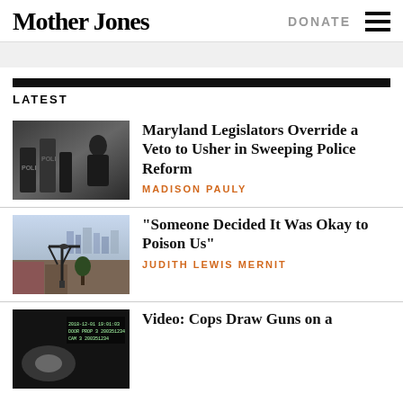Mother Jones
LATEST
Maryland Legislators Override a Veto to Usher in Sweeping Police Reform
MADISON PAULY
“Someone Decided It Was Okay to Poison Us”
JUDITH LEWIS MERNIT
Video: Cops Draw Guns on a